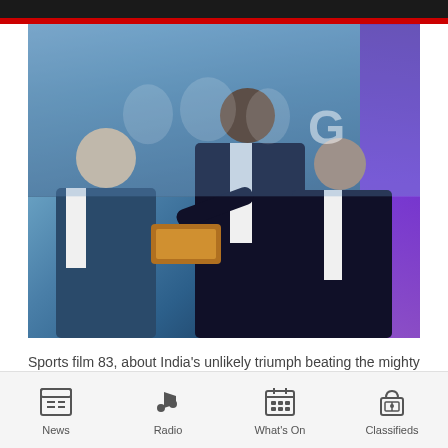[Figure (photo): A photo showing three men in suits at what appears to be an awards ceremony or film premiere event. In the background is a large screen showing historical cricket footage. The man in the center is leaning forward handing something. Purple lighting visible on the right side.]
Sports film 83, about India's unlikely triumph beating the mighty West Indies at the 1983 Cricket World Cup, swept the major
News | Radio | What's On | Classifieds